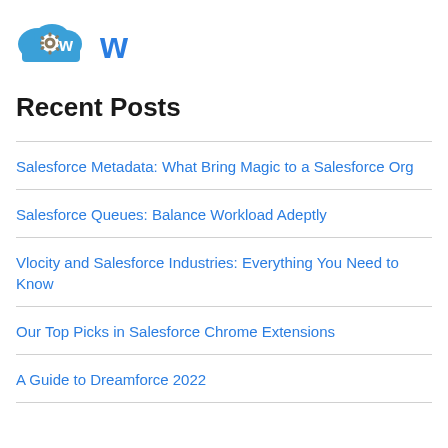[Figure (logo): CloudOps/CW branded logo with cloud and gear icon in blue, followed by a stylized blue 'w' letter mark]
Recent Posts
Salesforce Metadata: What Bring Magic to a Salesforce Org
Salesforce Queues: Balance Workload Adeptly
Vlocity and Salesforce Industries: Everything You Need to Know
Our Top Picks in Salesforce Chrome Extensions
A Guide to Dreamforce 2022